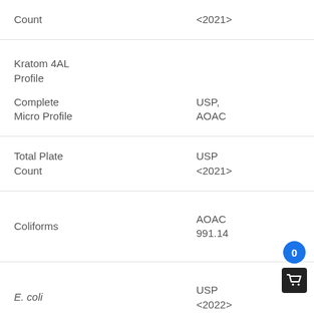|  |  |  |
| --- | --- | --- |
| Count | <2021> | 1... |
| Kratom 4AL Profile |  |  |
| Complete Micro Profile | USP, AOAC |  |
| Total Plate Count | USP <2021> | 100... |
| Coliforms | AOAC 991.14 | 10... |
| E. coli | USP <2022> | ...se... |
|  | USP |  |